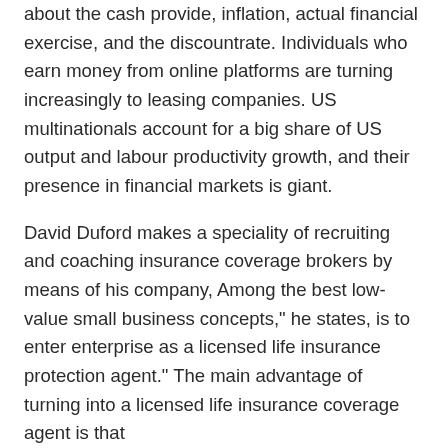about the cash provide, inflation, actual financial exercise, and the discountrate. Individuals who earn money from online platforms are turning increasingly to leasing companies. US multinationals account for a big share of US output and labour productivity growth, and their presence in financial markets is giant.
David Duford makes a speciality of recruiting and coaching insurance coverage brokers by means of his company, Among the best low-value small business concepts," he states, is to enter enterprise as a licensed life insurance protection agent." The main advantage of turning into a licensed life insurance coverage agent is that